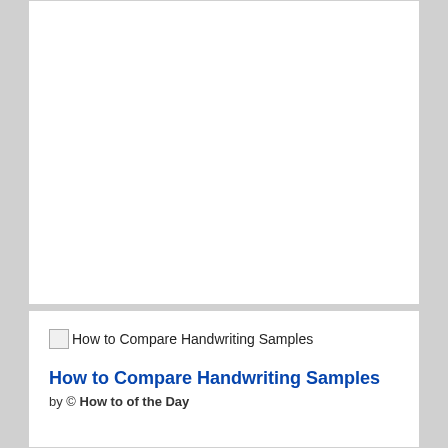[Figure (other): Empty white card/panel at the top of the page, no content visible]
[Figure (other): Broken image placeholder labeled 'How to Compare Handwriting Samples']
How to Compare Handwriting Samples
by © How to of the Day